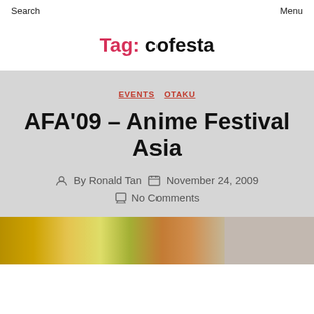Search    Menu
Tag: cofesta
EVENTS  OTAKU
AFA'09 – Anime Festival Asia
By Ronald Tan   November 24, 2009
No Comments
[Figure (photo): Thumbnail strip image from the AFA'09 article, showing colorful anime-related imagery on the left and a gray section on the right.]